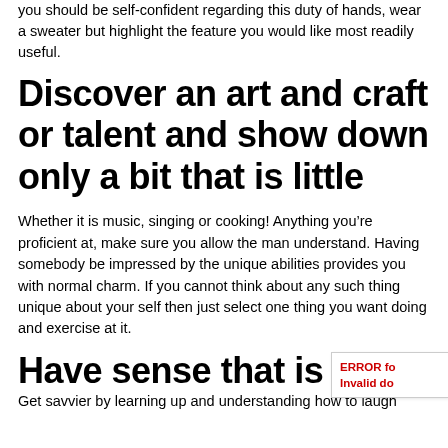you should be self-confident regarding this duty of hands, wear a sweater but highlight the feature you would like most readily useful.
Discover an art and craft or talent and show down only a bit that is little
Whether it is music, singing or cooking! Anything you’re proficient at, make sure you allow the man understand. Having somebody be impressed by the unique abilities provides you with normal charm. If you cannot think about any such thing unique about your self then just select one thing you want doing and exercise at it.
Have sense that is good o
Get savvier by learning up and understanding how to laugh